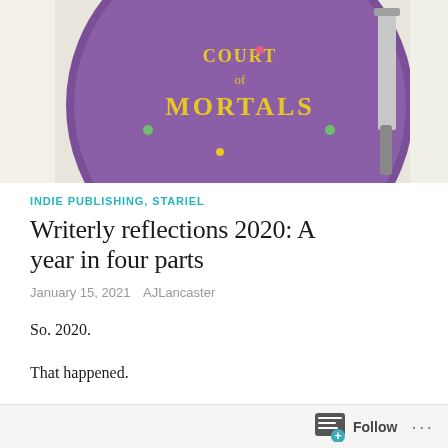[Figure (photo): Purple decorated cake with yellow lettering reading 'Court of Mortals', with a knife visible on the right side]
INDIE PUBLISHING, STARIEL
Writerly reflections 2020: A year in four parts
January 15, 2021   AJLancaster
So. 2020.
That happened.
How do you reflect on a year where reality became stranger than fiction? Even from the small and personal perspective of…